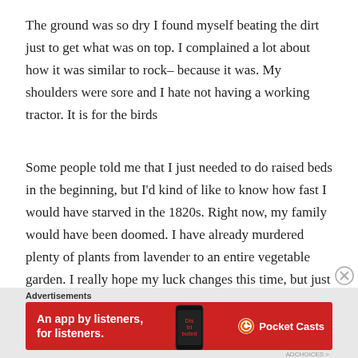The ground was so dry I found myself beating the dirt just to get what was on top. I complained a lot about how it was similar to rock– because it was. My shoulders were sore and I hate not having a working tractor. It is for the birds
Some people told me that I just needed to do raised beds in the beginning, but I'd kind of like to know how fast I would have starved in the 1820s. Right now, my family would have been doomed. I have already murdered plenty of plants from lavender to an entire vegetable garden. I really hope my luck changes this time, but just in case I am not using nearly as many
[Figure (other): Advertisement banner for Pocket Casts app — red background with text 'An app by listeners, for listeners.' and Pocket Casts logo, with a phone image showing 'Distributed' text]